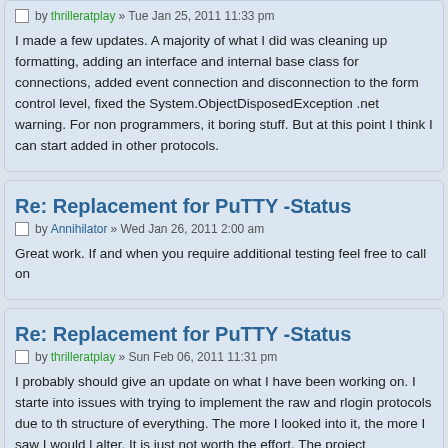by thrilleratplay » Tue Jan 25, 2011 11:33 pm
I made a few updates. A majority of what I did was cleaning up formatting, adding an interface and internal base class for connections, added event connection and disconnection to the form control level, fixed the System.ObjectDisposedException .net warning. For non programmers, it boring stuff. But at this point I think I can start added in other protocols.
Re: Replacement for PuTTY -Status
by Annihilator » Wed Jan 26, 2011 2:00 am
Great work. If and when you require additional testing feel free to call on
Re: Replacement for PuTTY -Status
by thrilleratplay » Sun Feb 06, 2011 11:31 pm
I probably should give an update on what I have been working on. I started into issues with trying to implement the raw and rlogin protocols due to the structure of everything. The more I looked into it, the more I saw I would have to alter. It is just not worth the effort. The project referenced originally was a modification of Poderosa v3 from 2005. In 6 years there have been a number of changes in OS and hardware that may result in bugs and creep up later on. Poderosa v4 is active once again and bugs are being fixed. Bugs that